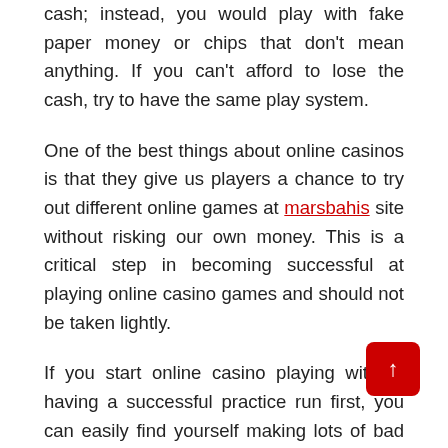cash; instead, you would play with fake paper money or chips that don't mean anything. If you can't afford to lose the cash, try to have the same play system.
One of the best things about online casinos is that they give us players a chance to try out different online games at marsbahis site without risking our own money. This is a critical step in becoming successful at playing online casino games and should not be taken lightly.
If you start online casino playing without having a successful practice run first, you can easily find yourself making lots of bad decisions and losing money that you'll never get back. Practice is essential if you're serious about becoming a successful online casino player.
Practice will help you better understand the game